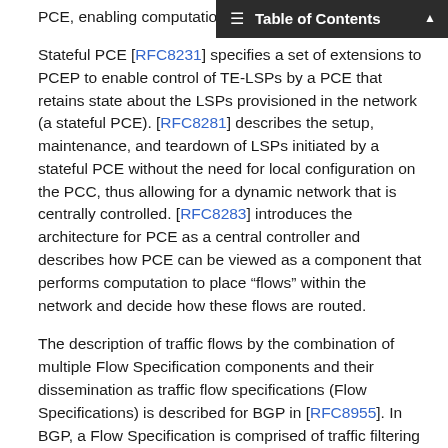Table of Contents
PCE, enabling computation of th…
Stateful PCE [RFC8231] specifies a set of extensions to PCEP to enable control of TE-LSPs by a PCE that retains state about the LSPs provisioned in the network (a stateful PCE). [RFC8281] describes the setup, maintenance, and teardown of LSPs initiated by a stateful PCE without the need for local configuration on the PCC, thus allowing for a dynamic network that is centrally controlled. [RFC8283] introduces the architecture for PCE as a central controller and describes how PCE can be viewed as a component that performs computation to place “flows” within the network and decide how these flows are routed.
The description of traffic flows by the combination of multiple Flow Specification components and their dissemination as traffic flow specifications (Flow Specifications) is described for BGP in [RFC8955]. In BGP, a Flow Specification is comprised of traffic filtering rules and is associated with actions to perform on the packets that match the Flow Specification. The BGP routers that receive a